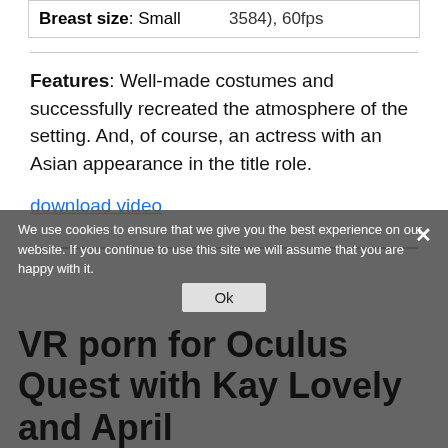| Breast size: Small | (…) 3584), 60fps |
Features: Well-made costumes and successfully recreated the atmosphere of the setting. And, of course, an actress with an Asian appearance in the title role.
download video
We use cookies to ensure that we give you the best experience on our website. If you continue to use this site we will assume that you are happy with it.
Ok
VR porn for Oculus Quest with Kay Lovely and April